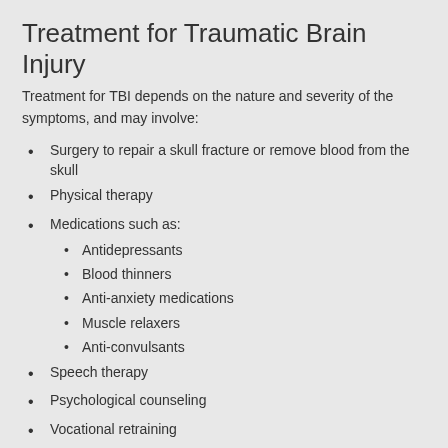Treatment for Traumatic Brain Injury
Treatment for TBI depends on the nature and severity of the symptoms, and may involve:
Surgery to repair a skull fracture or remove blood from the skull
Physical therapy
Medications such as:
Antidepressants
Blood thinners
Anti-anxiety medications
Muscle relaxers
Anti-convulsants
Speech therapy
Psychological counseling
Vocational retraining
Cognitive therapy